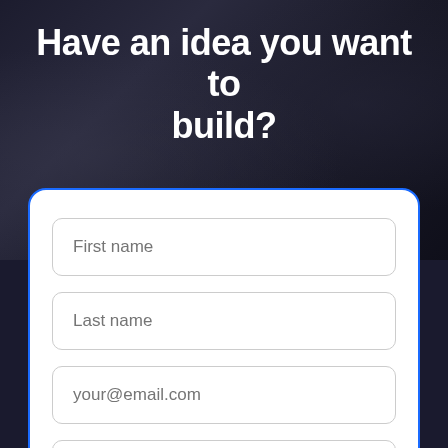Have an idea you want to build?
[Figure (screenshot): A contact/inquiry form with a dark background image overlay. The form card has a blue border with fields for First name, Last name, email, and Phone number (optional).]